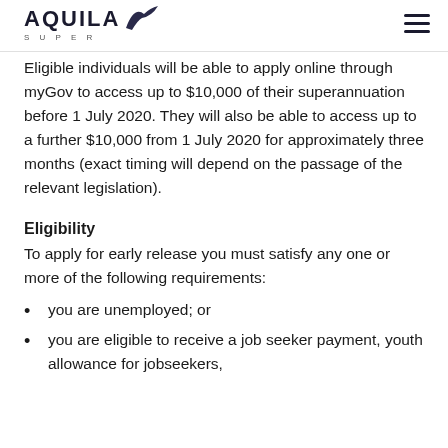AQUILA SUPER
Eligible individuals will be able to apply online through myGov to access up to $10,000 of their superannuation before 1 July 2020. They will also be able to access up to a further $10,000 from 1 July 2020 for approximately three months (exact timing will depend on the passage of the relevant legislation).
Eligibility
To apply for early release you must satisfy any one or more of the following requirements:
you are unemployed; or
you are eligible to receive a job seeker payment, youth allowance for jobseekers,